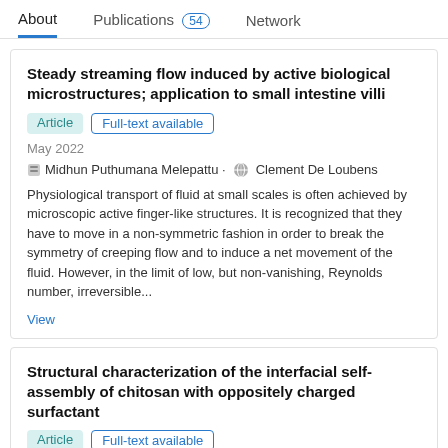About  Publications 54  Network
Steady streaming flow induced by active biological microstructures; application to small intestine villi
Article  Full-text available
May 2022
Midhun Puthumana Melepattu · Clement De Loubens
Physiological transport of fluid at small scales is often achieved by microscopic active finger-like structures. It is recognized that they have to move in a non-symmetric fashion in order to break the symmetry of creeping flow and to induce a net movement of the fluid. However, in the limit of low, but non-vanishing, Reynolds number, irreversible...
View
Structural characterization of the interfacial self-assembly of chitosan with oppositely charged surfactant
Article  Full-text available